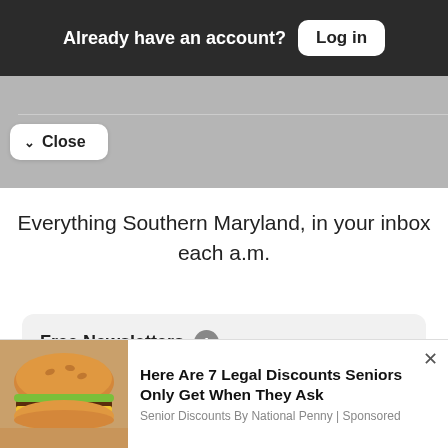Already have an account? Log in
Close
Everything Southern Maryland, in your inbox each a.m.
Free Newsletters 1
Daily Digest
Here Are 7 Legal Discounts Seniors Only Get When They Ask
Senior Discounts By National Penny | Sponsored